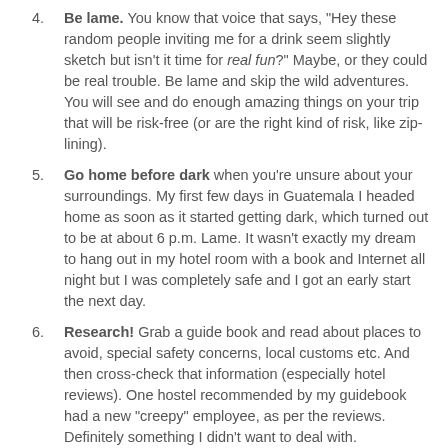Be lame. You know that voice that says, "Hey these random people inviting me for a drink seem slightly sketch but isn't it time for real fun?" Maybe, or they could be real trouble. Be lame and skip the wild adventures. You will see and do enough amazing things on your trip that will be risk-free (or are the right kind of risk, like zip-lining).
Go home before dark when you're unsure about your surroundings. My first few days in Guatemala I headed home as soon as it started getting dark, which turned out to be at about 6 p.m. Lame. It wasn't exactly my dream to hang out in my hotel room with a book and Internet all night but I was completely safe and I got an early start the next day.
Research! Grab a guide book and read about places to avoid, special safety concerns, local customs etc. And then cross-check that information (especially hotel reviews). One hostel recommended by my guidebook had a new "creepy" employee, as per the reviews. Definitely something I didn't want to deal with.
Ask the locals. If they don't think the bus is safe,